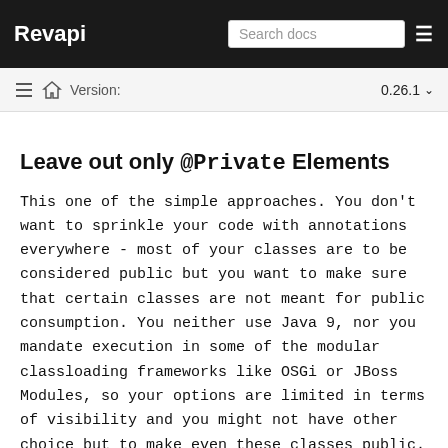Revapi | Search docs
Leave out only @Private Elements
This one of the simple approaches. You don't want to sprinkle your code with annotations everywhere - most of your classes are to be considered public but you want to make sure that certain classes are not meant for public consumption. You neither use Java 9, nor you mandate execution in some of the modular classloading frameworks like OSGi or JBoss Modules, so your options are limited in terms of visibility and you might not have other choice but to make even these classes public.